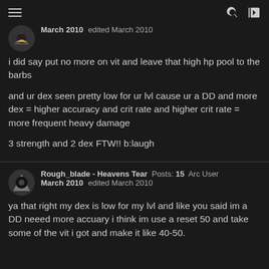Navigation bar with hamburger menu, search, and login icons
March 2010   edited March 2010
i did say put no more on vit and leave that high hp pool to the barbs

and ur dex seen pretty low for ur lvl cause ur a DD and more dex = higher accuracy and crit rate and higher crit rate = more frequent heavy damage

3 strength and 2 dex FTW!! b:laugh
Rough_blade - Heavens Tear  Posts: 15  Arc User
March 2010   edited March 2010
ya that right my dex is low for my lvl and like you said im a DD neeed more accuary i think im use a reset 50 and take some of the vit i got and make it like 40-50.